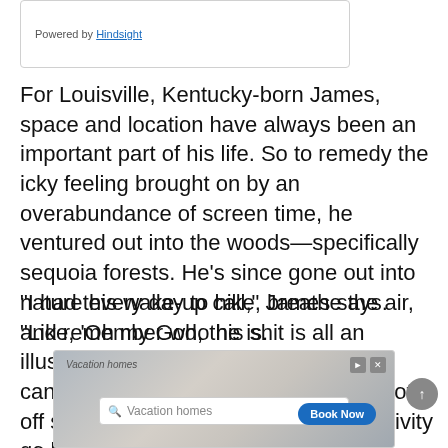[Figure (screenshot): A box with 'Powered by Hindsight' text and a link]
For Louisville, Kentucky-born James, space and location have always been an important part of his life. So to remedy the icky feeling brought on by an overabundance of screen time, he ventured out into the woods—specifically sequoia forests. He's since gone out into nature every day to hike, breathe the air, and remember who he is.
“I had this wake-up call,” James says. “Like, ‘Oh my God, this shit is all an illusion. It’s really drowning you.’ So, I canceled my streaming services and got off social media. And I saw my productivity go back up, my cre… ame a better…”
[Figure (screenshot): Advertisement banner for vacation homes booking with search bar and Book Now button]